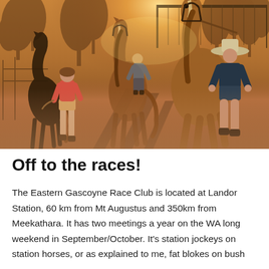[Figure (photo): Two people walking horses across a dusty red dirt yard at golden hour. A person in a pink top and shorts leads a dark horse on the left; a person in a navy shirt, shorts and wide-brimmed hat leads a chestnut horse on the right. A third person and horse are visible in the background center. A metal shed or fence structure is visible at the top right. Trees silhouetted against warm golden backlight fill the background.]
Off to the races!
The Eastern Gascoyne Race Club is located at Landor Station, 60 km from Mt Augustus and 350km from Meekathara. It has two meetings a year on the WA long weekend in September/October. It's station jockeys on station horses, or as explained to me, fat blokes on bush